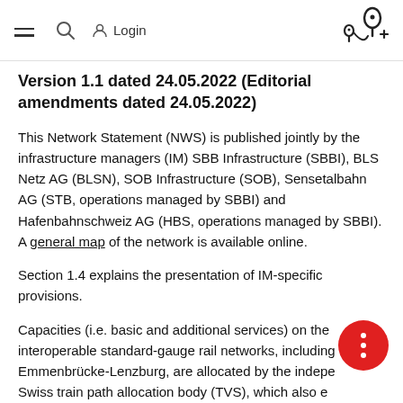≡  🔍  Login  [map icon]
Version 1.1 dated 24.05.2022 (Editorial amendments dated 24.05.2022)
This Network Statement (NWS) is published jointly by the infrastructure managers (IM) SBB Infrastructure (SBBI), BLS Netz AG (BLSN), SOB Infrastructure (SOB), Sensetalbahn AG (STB, operations managed by SBBI) and Hafenbahnschweiz AG (HBS, operations managed by SBBI). A general map of the network is available online.
Section 1.4 explains the presentation of IM-specific provisions.
Capacities (i.e. basic and additional services) on the interoperable standard-gauge rail networks, including Emmenbrücke-Lenzburg, are allocated by the independent Swiss train path allocation body (TVS), which also ensures that timetables are designed without discrimination. The train path